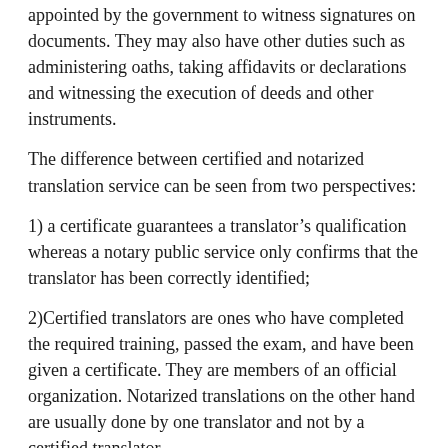appointed by the government to witness signatures on documents. They may also have other duties such as administering oaths, taking affidavits or declarations and witnessing the execution of deeds and other instruments.
The difference between certified and notarized translation service can be seen from two perspectives:
1) a certificate guarantees a translator's qualification whereas a notary public service only confirms that the translator has been correctly identified;
2)Certified translators are ones who have completed the required training, passed the exam, and have been given a certificate. They are members of an official organization. Notarized translations on the other hand are usually done by one translator and not by a certified translator.
Notary public service in Bizerte, is done to ensure that the document is authentic and that no changes were made to